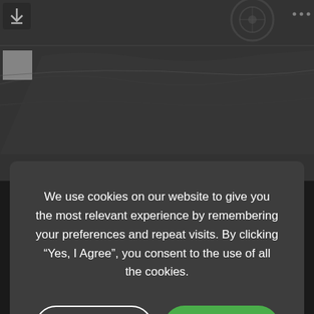[Figure (photo): Dark-toned automotive close-up photo of car interior/exterior details in the background, partially visible behind a cookie consent overlay]
We use cookies on our website to give you the most relevant experience by remembering your preferences and repeat visits. By clicking “Yes, I Agree”, you consent to the use of all the cookies.
[Figure (screenshot): Cookie Settings button (outlined white pill button) and Yes, I Agree button (green pill button) inside a dark modal dialog]